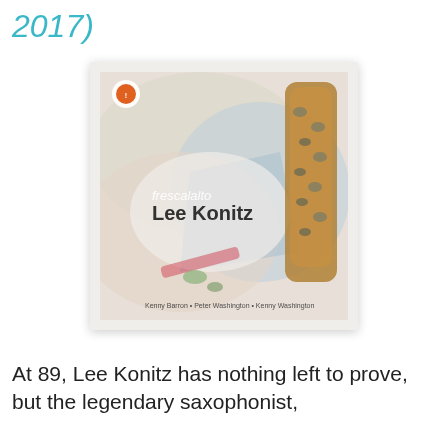2017)
[Figure (illustration): Album cover for 'frescalalto' by Lee Konitz on Impulse! Records. The cover features an abstract painting with soft pastel colors (cream, blue, pink) and a saxophone visible on the right side. Text reads 'frescalalto' in small italic font and 'Lee Konitz' in large bold font. Bottom credit line reads 'Kenny Barron • Peter Washington • Kenny Washington'. Impulse! Records logo in upper left.]
At 89, Lee Konitz has nothing left to prove, but the legendary saxophonist,